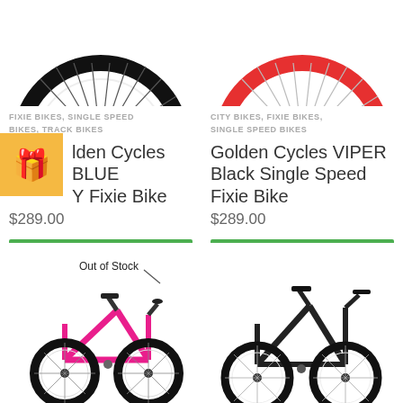[Figure (photo): Top portion of two fixie bikes — left bike with black wheels (partial), right bike with red wheels (partial)]
FIXIE BIKES, SINGLE SPEED BIKES, TRACK BIKES
Golden Cycles BLUE Y Fixie Bike
$289.00
CITY BIKES, FIXIE BIKES, SINGLE SPEED BIKES
Golden Cycles VIPER Black Single Speed Fixie Bike
$289.00
[Figure (other): Gift/promo badge icon (orange background with gift box emoji)]
Select options
Select options
[Figure (photo): Pink fixie bike (Out of Stock) on left, black fixie bike on right — bottom portion of page]